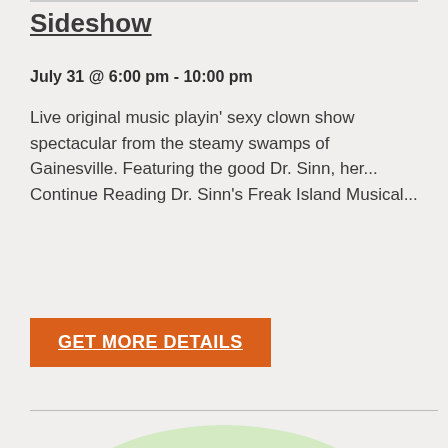Sideshow
July 31 @ 6:00 pm - 10:00 pm
Live original music playin' sexy clown show spectacular from the steamy swamps of Gainesville. Featuring the good Dr. Sinn, her... Continue Reading Dr. Sinn's Freak Island Musical...
GET MORE DETAILS
[Figure (illustration): Cartoon illustration of a manatee surrounded by green seagrass on a light green background]